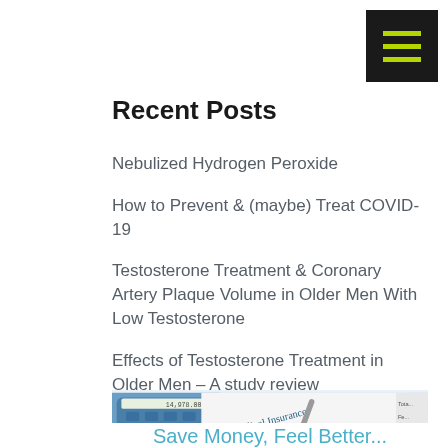[Figure (other): Hamburger menu icon — black square with three yellow-green horizontal lines]
Recent Posts
Nebulized Hydrogen Peroxide
How to Prevent & (maybe) Treat COVID-19
Testosterone Treatment & Coronary Artery Plaque Volume in Older Men With Low Testosterone
Effects of Testosterone Treatment in Older Men – A study review
Testosterone & Coronary Artery Disease – study review
[Figure (photo): Photo of a Medical Insurance Claim Form with a calculator and pen on top]
Save Money, Feel Better...